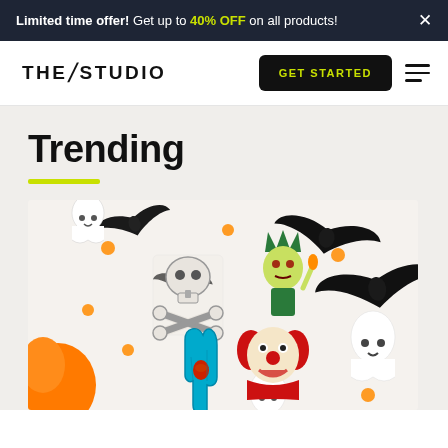Limited time offer! Get up to 40% OFF on all products! ×
[Figure (logo): THE/STUDIO logo with diagonal slash]
GET STARTED
Trending
[Figure (photo): Halloween enamel pins flat lay photo with bats, ghosts, skull and crossbones, zombie clown, blue hand, pumpkin, and candy corn decorations on white background]